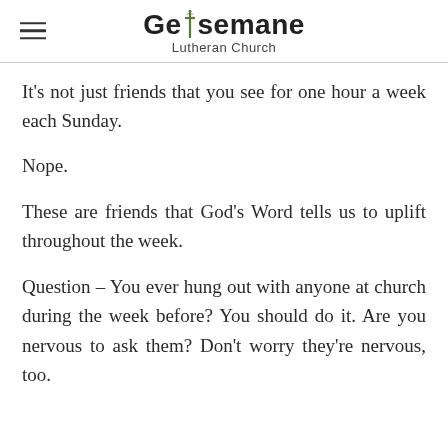Gethsemane Lutheran Church
It's not just friends that you see for one hour a week each Sunday.
Nope.
These are friends that God's Word tells us to uplift throughout the week.
Question – You ever hung out with anyone at church during the week before? You should do it. Are you nervous to ask them? Don't worry they're nervous, too.